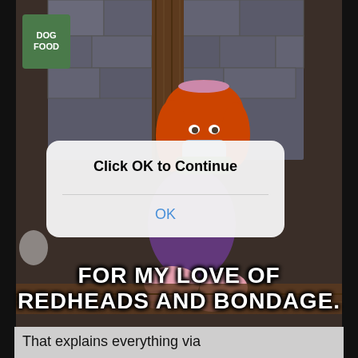[Figure (illustration): Scooby-Doo cartoon screenshot showing Daphne tied up with a gag over her mouth, sitting against a wooden wall with a 'DOG FOOD' box visible in background]
Click OK to Continue
OK
FOR MY LOVE OF REDHEADS AND BONDAGE.
That explains everything via